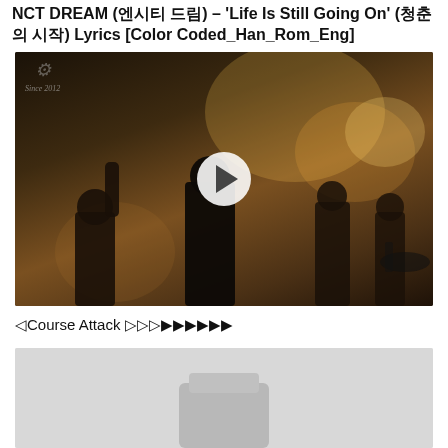NCT DREAM (엔시티 드림) – 'Life Is Still Going On' (청춘의 시작) Lyrics [Color Coded_Han_Rom_Eng]
[Figure (photo): Video thumbnail of a band performing live on stage with dramatic warm stage lighting, crowd in foreground, play button overlay in center. Watermark/logo visible in top-left corner.]
◁Course Attack ▷▷▷▶▶▶▶▶▶
[Figure (photo): Partially visible gray/light colored thumbnail image, appears to show an object on a light background, cropped at page bottom.]